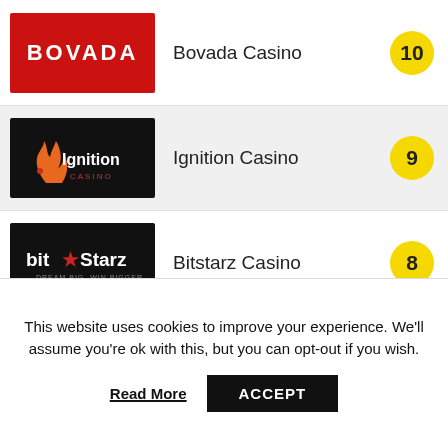[Figure (logo): Bovada Casino logo - red background with white BOVADA text]
Bovada Casino
10
[Figure (logo): Ignition Casino logo - black background with flame icon and Ignition Casino text]
Ignition Casino
9
[Figure (logo): Bitstarz Casino logo - black background with bit star Starz text]
Bitstarz Casino
8
[Figure (logo): mBit Casino logo - dark blue background with yellow mBit CASINO text]
Mbit Casino
9
This website uses cookies to improve your experience. We'll assume you're ok with this, but you can opt-out if you wish.
Read More
ACCEPT